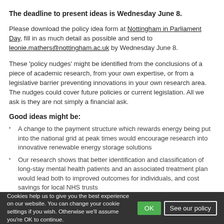The deadline to present ideas is Wednesday June 8.
Please download the policy idea form at Nottingham in Parliament Day, fill in as much detail as possible and send to leonie.mathers@nottingham.ac.uk by Wednesday June 8.
These 'policy nudges' might be identified from the conclusions of a piece of academic research, from your own expertise, or from a legislative barrier preventing innovations in your own research area. The nudges could cover future policies or current legislation. All we ask is they are not simply a financial ask.
Good ideas might be:
A change to the payment structure which rewards energy being put into the national grid at peak times would encourage research into innovative renewable energy storage solutions
Our research shows that better identification and classification of long-stay mental health patients and an associated treatment plan would lead both to improved outcomes for individuals, and cost savings for local NHS trusts
Cookies help us to give you the best experience on our website. You can change your cookie settings if you wish. Otherwise we'll assume you're OK to continue.